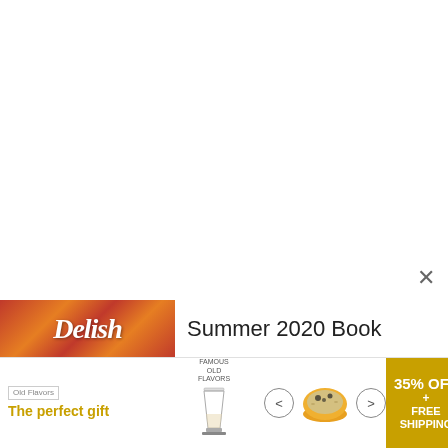[Figure (photo): Mostly white/blank upper portion of a web page screenshot]
[Figure (photo): Partial book cover visible at bottom left with orange/red swirling design and stylized text]
Summer 2020 Book
[Figure (infographic): Advertisement banner: 'The perfect gift' with product image, navigation arrows, bowl of food, and '35% OFF + FREE SHIPPING' offer in gold/yellow]
×